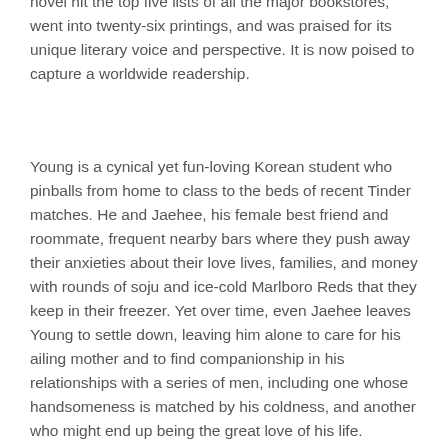novel hit the top five lists of all the major bookstores, went into twenty-six printings, and was praised for its unique literary voice and perspective. It is now poised to capture a worldwide readership.
Young is a cynical yet fun-loving Korean student who pinballs from home to class to the beds of recent Tinder matches. He and Jaehee, his female best friend and roommate, frequent nearby bars where they push away their anxieties about their love lives, families, and money with rounds of soju and ice-cold Marlboro Reds that they keep in their freezer. Yet over time, even Jaehee leaves Young to settle down, leaving him alone to care for his ailing mother and to find companionship in his relationships with a series of men, including one whose handsomeness is matched by his coldness, and another who might end up being the great love of his life.